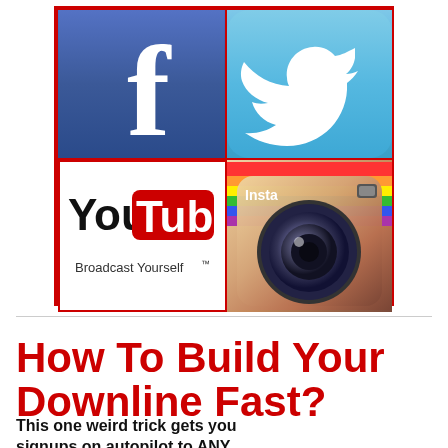[Figure (illustration): A 2x2 grid of social media logos (Facebook, Twitter, YouTube, Instagram) enclosed in a red border]
How To Build Your Downline Fast?
This one weird trick gets you signups on autopilot to ANY